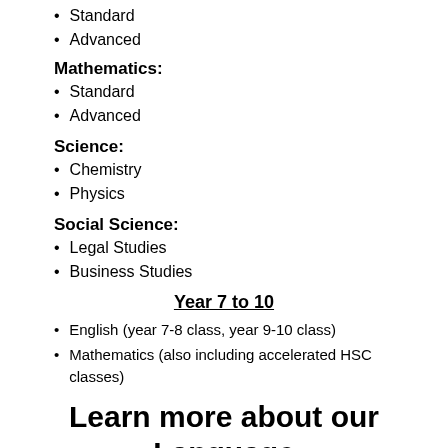Standard
Advanced
Mathematics:
Standard
Advanced
Science:
Chemistry
Physics
Social Science:
Legal Studies
Business Studies
Year 7 to 10
English (year 7-8 class, year 9-10 class)
Mathematics (also including accelerated HSC classes)
Learn more about our Language